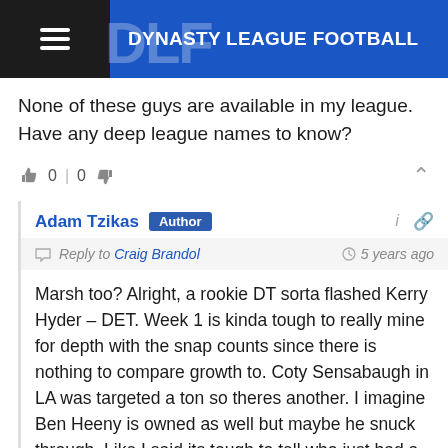DYNASTY LEAGUE FOOTBALL
None of these guys are available in my league. Have any deep league names to know?
Adam Tzikas  Author  Reply to Craig Brandol  5 years ago  Marsh too? Alright, a rookie DT sorta flashed Kerry Hyder – DET. Week 1 is kinda tough to really mine for depth with the snap counts since there is nothing to compare growth to. Coty Sensabaugh in LA was targeted a ton so theres another. I imagine Ben Heeny is owned as well but maybe he snuck through. Like I said its tough to tell who just had a good game compared to who is going to be a long time producer this early.